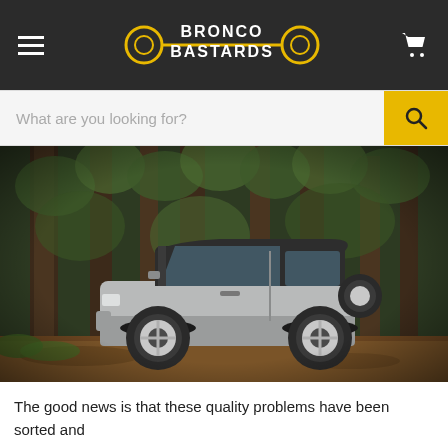BRONCO BASTARDS
[Figure (screenshot): Search bar with placeholder text 'What are you looking for?' and a yellow search button with magnifying glass icon]
[Figure (photo): A silver Ford Bronco 2-door SUV parked in a redwood forest with tall trees and ferns in the background, seen from the side profile]
The good news is that these quality problems have been sorted and